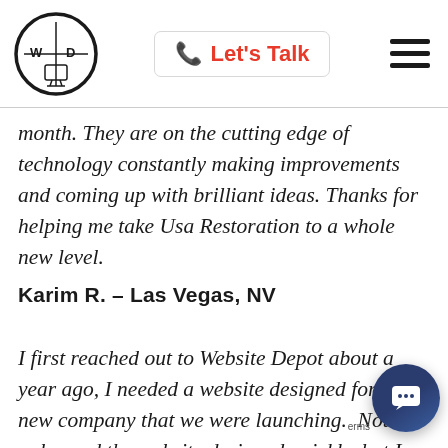[Figure (logo): Website Depot circular logo with WD letters and computer icon inside a black circle border]
Let's Talk
month. They are on the cutting edge of technology constantly making improvements and coming up with brilliant ideas. Thanks for helping me take Usa Restoration to a whole new level.
Karim R. – Las Vegas, NV
I first reached out to Website Depot about a year ago, I needed a website designed for a new company that we were launching. Not only need the website designed quickly, but I ne company I could easily get in touch with and get